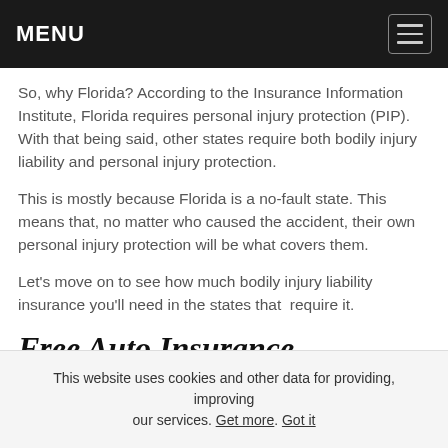MENU
So, why Florida? According to the Insurance Information Institute, Florida requires personal injury protection (PIP). With that being said, other states require both bodily injury liability and personal injury protection.
This is mostly because Florida is a no-fault state. This means that, no matter who caused the accident, their own personal injury protection will be what covers them.
Let’s move on to see how much bodily injury liability insurance you’ll need in the states that  require it.
Free Auto Insurance
This website uses cookies and other data for providing, improving our services. Get more. Got it